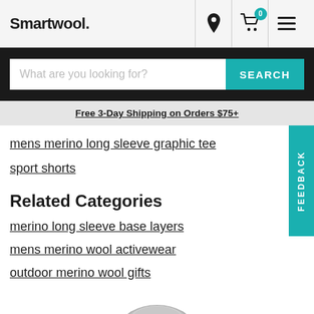Smartwool.
[Figure (screenshot): Search bar with placeholder 'What are you looking for?' and teal SEARCH button]
Free 3-Day Shipping on Orders $75+
mens merino long sleeve graphic tee
sport shorts
Related Categories
merino long sleeve base layers
mens merino wool activewear
outdoor merino wool gifts
[Figure (photo): Partial view of a grey merino wool sweater product]